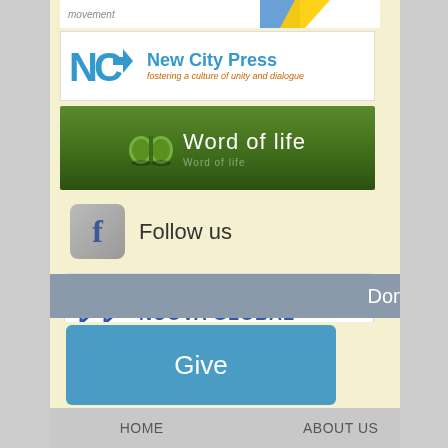[Figure (logo): Focolare movement logo banner - partially visible at top]
[Figure (logo): New City Press logo with tagline 'fostering a culture of unity and dialogue']
[Figure (logo): Word of Life green banner with book icon]
[Figure (logo): Facebook icon with 'Follow us' text]
[Figure (logo): Nuova Global affiliate member banner]
Donate
[Figure (other): Blue 'Give' button]
HOME   ABOUT US